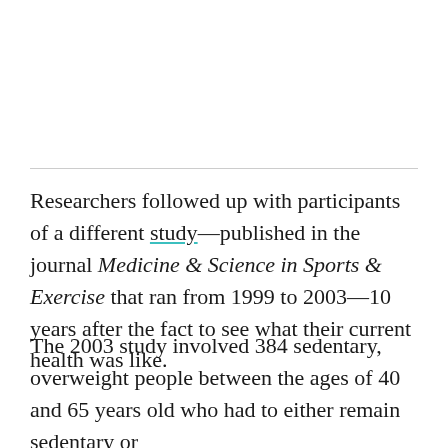Researchers followed up with participants of a different study—published in the journal Medicine & Science in Sports & Exercise that ran from 1999 to 2003—10 years after the fact to see what their current health was like.
The 2003 study involved 384 sedentary, overweight people between the ages of 40 and 65 years old who had to either remain sedentary or start exercising about four nights a week. The